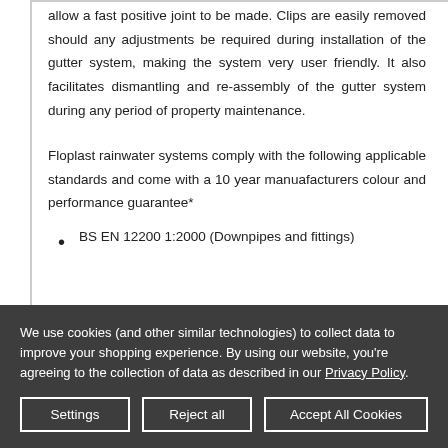allow a fast positive joint to be made. Clips are easily removed should any adjustments be required during installation of the gutter system, making the system very user friendly. It also facilitates dismantling and re-assembly of the gutter system during any period of property maintenance.
Floplast rainwater systems comply with the following applicable standards and come with a 10 year manuafacturers colour and performance guarantee*
BS EN 12200 1:2000 (Downpipes and fittings)
We use cookies (and other similar technologies) to collect data to improve your shopping experience. By using our website, you're agreeing to the collection of data as described in our Privacy Policy.